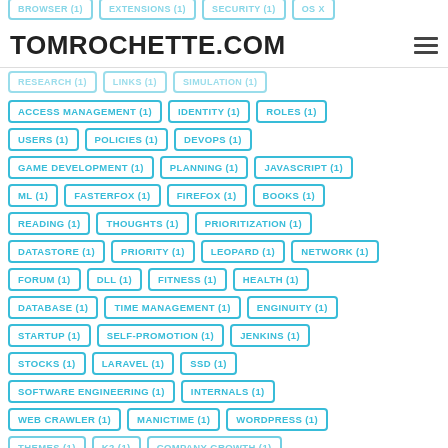TOMROCHETTE.COM
ACCESS MANAGEMENT (1)
IDENTITY (1)
ROLES (1)
USERS (1)
POLICIES (1)
DEVOPS (1)
GAME DEVELOPMENT (1)
PLANNING (1)
JAVASCRIPT (1)
ML (1)
FASTERFOX (1)
FIREFOX (1)
BOOKS (1)
READING (1)
THOUGHTS (1)
PRIORITIZATION (1)
DATASTORE (1)
PRIORITY (1)
LEOPARD (1)
NETWORK (1)
FORUM (1)
DLL (1)
FITNESS (1)
HEALTH (1)
DATABASE (1)
TIME MANAGEMENT (1)
ENGINUITY (1)
STARTUP (1)
SELF-PROMOTION (1)
JENKINS (1)
STOCKS (1)
LARAVEL (1)
SSD (1)
SOFTWARE ENGINEERING (1)
INTERNALS (1)
WEB CRAWLER (1)
MANICTIME (1)
WORDPRESS (1)
THEMES (1)
K2 (1)
COMPANY GROWTH (1)